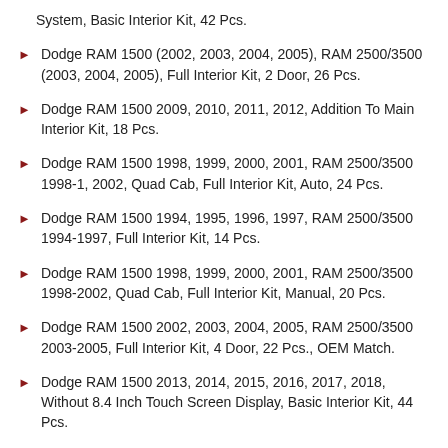System, Basic Interior Kit, 42 Pcs.
Dodge RAM 1500 (2002, 2003, 2004, 2005), RAM 2500/3500 (2003, 2004, 2005), Full Interior Kit, 2 Door, 26 Pcs.
Dodge RAM 1500 2009, 2010, 2011, 2012, Addition To Main Interior Kit, 18 Pcs.
Dodge RAM 1500 1998, 1999, 2000, 2001, RAM 2500/3500 1998-1, 2002, Quad Cab, Full Interior Kit, Auto, 24 Pcs.
Dodge RAM 1500 1994, 1995, 1996, 1997, RAM 2500/3500 1994-1997, Full Interior Kit, 14 Pcs.
Dodge RAM 1500 1998, 1999, 2000, 2001, RAM 2500/3500 1998-2002, Quad Cab, Full Interior Kit, Manual, 20 Pcs.
Dodge RAM 1500 2002, 2003, 2004, 2005, RAM 2500/3500 2003-2005, Full Interior Kit, 4 Door, 22 Pcs., OEM Match.
Dodge RAM 1500 2013, 2014, 2015, 2016, 2017, 2018, Without 8.4 Inch Touch Screen Display, Basic Interior Kit, 44 Pcs.